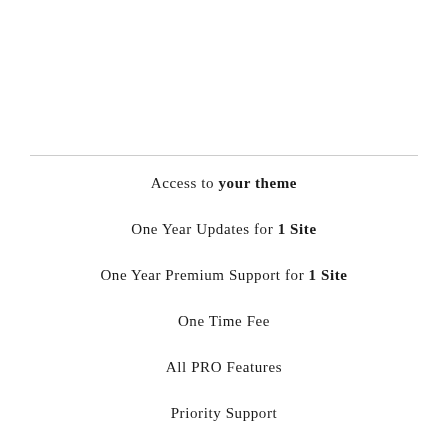Access to your theme
One Year Updates for 1 Site
One Year Premium Support for 1 Site
One Time Fee
All PRO Features
Priority Support